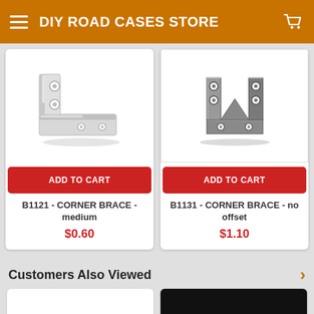DIY ROAD CASES STORE
[Figure (photo): Silver/white L-shaped corner brace, medium size, with mounting holes]
ADD TO CART
B1121 - CORNER BRACE - medium
$0.60
[Figure (photo): Dark steel corner brace with no offset, with multiple mounting holes]
ADD TO CART
B1131 - CORNER BRACE - no offset
$1.10
Customers Also Viewed
[Figure (photo): White product thumbnail card]
[Figure (photo): Dark/black product thumbnail]